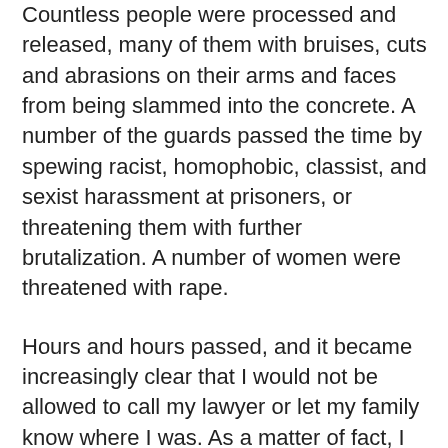Countless people were processed and released, many of them with bruises, cuts and abrasions on their arms and faces from being slammed into the concrete. A number of the guards passed the time by spewing racist, homophobic, classist, and sexist harassment at prisoners, or threatening them with further brutalization. A number of women were threatened with rape.
Hours and hours passed, and it became increasingly clear that I would not be allowed to call my lawyer or let my family know where I was. As a matter of fact, I hadn't yet been informed of my charges. I spent over two days in my cell, curled in a ball on the concrete or pacing the small vicinity of my cage, sometimes yelling to other prisoners or joining them in hysterical, sleep-deprived bouts of laughter.